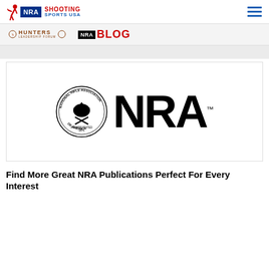NRA Shooting Sports USA
[Figure (logo): NRA Shooting Sports USA logo with person icon and blue NRA box]
[Figure (logo): Hunters Leadership Forum logo]
[Figure (logo): NRA Blog badge with red BLOG text]
[Figure (logo): National Rifle Association seal alongside large NRA wordmark with TM symbol]
Find More Great NRA Publications Perfect For Every Interest